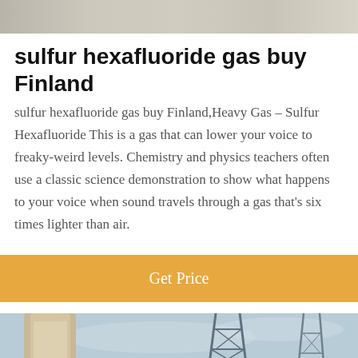[Figure (photo): Top partial image of an outdoor scene, appears to be a road or industrial area, shown as a cropped strip at the top of the page.]
sulfur hexafluoride gas buy Finland
sulfur hexafluoride gas buy Finland,Heavy Gas – Sulfur Hexafluoride This is a gas that can lower your voice to freaky-weird levels. Chemistry and physics teachers often use a classic science demonstration to show what happens to your voice when sound travels through a gas that's six times lighter than air.
Get Price
[Figure (photo): Photo of electrical transmission towers and industrial structures, with a dark overlay bar at the bottom. Includes an avatar of a female customer service representative with a headset, and a scroll-to-top button.]
Leave Message
Chat Online